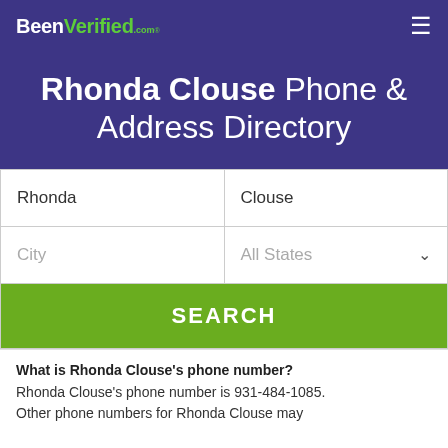BeenVerified.com
Rhonda Clouse Phone & Address Directory
Rhonda | Clouse | City | All States | SEARCH
What is Rhonda Clouse's phone number? Rhonda Clouse's phone number is 931-484-1085. Other phone numbers for Rhonda Clouse may